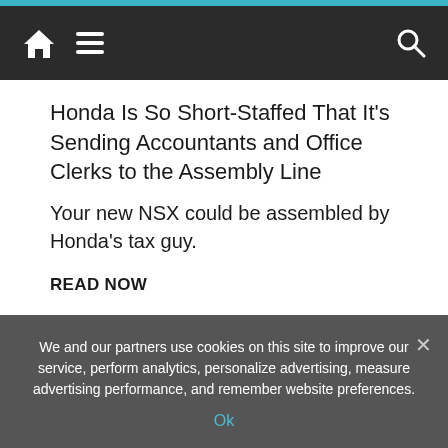Navigation bar with home icon, hamburger menu, and search icon
Honda Is So Short-Staffed That It's Sending Accountants and Office Clerks to the Assembly Line
Your new NSX could be assembled by Honda's tax guy.
READ NOW
RELATED
Healthcare Workers Stranded by Snowstorm Give COVID Vaccines in Traffic Jam
We and our partners use cookies on this site to improve our service, perform analytics, personalize advertising, measure advertising performance, and remember website preferences.
Ok